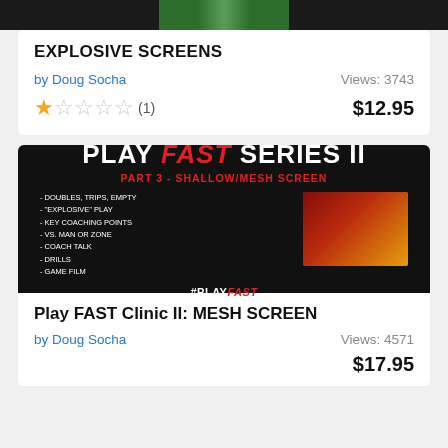[Figure (photo): Top strip with dark background and football game image]
EXPLOSIVE SCREENS
by Doug Socha    Views: 3743
★☆☆☆☆ (1)   $12.95
[Figure (photo): Play FAST Series II promotional image with dark background, title text, bullet list, football action photo, and #PLAYFAST hashtag]
Play FAST Clinic II: MESH SCREEN
by Doug Socha    Views: 4571
$17.95